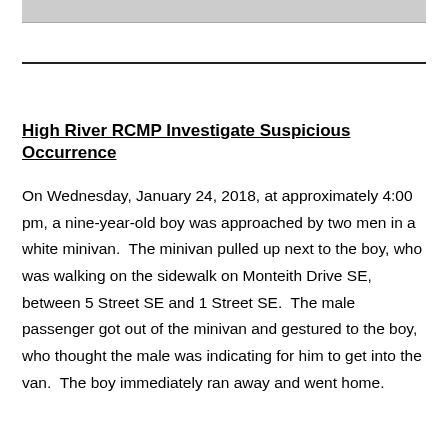[Figure (photo): Partial photo strip at top of page, showing a cropped grayscale image (appears to be a person or building, mostly cropped out)]
High River RCMP Investigate Suspicious Occurrence
On Wednesday, January 24, 2018, at approximately 4:00 pm, a nine-year-old boy was approached by two men in a white minivan.  The minivan pulled up next to the boy, who was walking on the sidewalk on Monteith Drive SE, between 5 Street SE and 1 Street SE.  The male passenger got out of the minivan and gestured to the boy, who thought the male was indicating for him to get into the van.  The boy immediately ran away and went home.